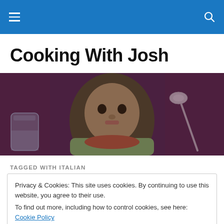Navigation bar with menu and search icons
Cooking With Josh
[Figure (photo): A child leaning over a bowl at a restaurant table, with a glass of water on the left and a spoon on the right, purplish background]
TAGGED WITH ITALIAN
Privacy & Cookies: This site uses cookies. By continuing to use this website, you agree to their use.
To find out more, including how to control cookies, see here: Cookie Policy
Close and accept
[Figure (photo): Partial view of a food photo at the bottom of the page]